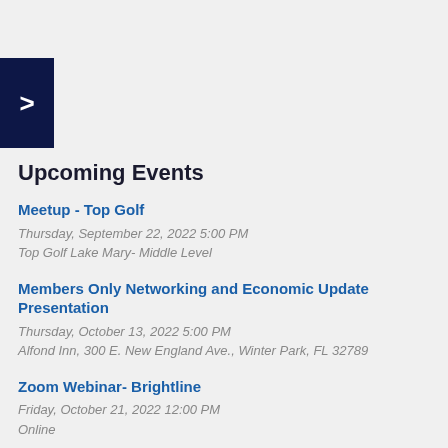Upcoming Events
Meetup - Top Golf
Thursday, September 22, 2022 5:00 PM
Top Golf Lake Mary- Middle Level
Members Only Networking and Economic Update Presentation
Thursday, October 13, 2022 5:00 PM
Alfond Inn, 300 E. New England Ave., Winter Park, FL 32789
Zoom Webinar- Brightline
Friday, October 21, 2022 12:00 PM
Online
Webinar - Legal Update
Wednesday, November 16, 2022 12:00 PM
Webinar - Virtual